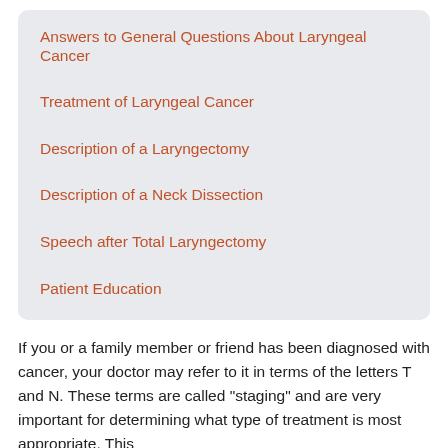Answers to General Questions About Laryngeal Cancer
Treatment of Laryngeal Cancer
Description of a Laryngectomy
Description of a Neck Dissection
Speech after Total Laryngectomy
Patient Education
If you or a family member or friend has been diagnosed with cancer, your doctor may refer to it in terms of the letters T and N. These terms are called "staging" and are very important for determining what type of treatment is most appropriate. This